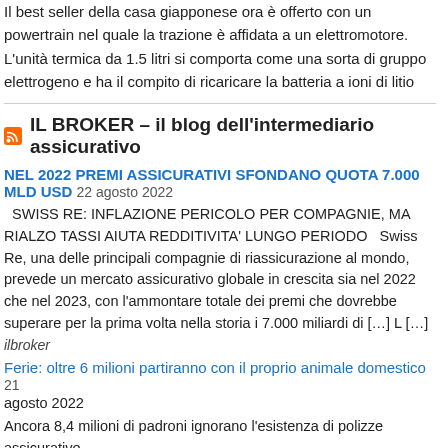Il best seller della casa giapponese ora è offerto con un powertrain nel quale la trazione è affidata a un elettromotore. L'unità termica da 1.5 litri si comporta come una sorta di gruppo elettrogeno e ha il compito di ricaricare la batteria a ioni di litio
IL BROKER – il blog dell'intermediario assicurativo
NEL 2022 PREMI ASSICURATIVI SFONDANO QUOTA 7.000 MLD USD
22 agosto 2022
SWISS RE: INFLAZIONE PERICOLO PER COMPAGNIE, MA RIALZO TASSI AIUTA REDDITIVITA' LUNGO PERIODO  Swiss Re, una delle principali compagnie di riassicurazione al mondo, prevede un mercato assicurativo globale in crescita sia nel 2022 che nel 2023, con l'ammontare totale dei premi che dovrebbe superare per la prima volta nella storia i 7.000 miliardi di […] L […]
ilbroker
Ferie: oltre 6 milioni partiranno con il proprio animale domestico
21 agosto 2022
Ancora 8,4 milioni di padroni ignorano l'esistenza di polizze assicurative